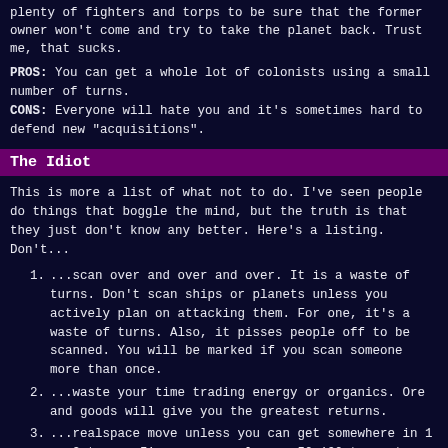plenty of fighters and torps to be sure that the former owner won't come and try to take the planet back. Trust me, that sucks.
PROS: You can get a whole lot of colonists using a small number of turns.
CONS: Everyone will hate you and it's sometimes hard to defend new "acquisitions".
The Idiot
This is more a list of what not to do. I've seen people do things that boggle the mind, but the truth is that they just don't know any better. Here's a listing. Don't...
...scan over and over and over. It is a waste of turns. Don't scan ships or planets unless you actively plan on attacking them. For one, it's a waste of turns. Also, it pisses people off to be scanned. You will be marked if you scan someone more than once.
...waste your time trading energy or organics. Ore and goods will give you the greatest returns.
...realspace move unless you can get somewhere in 1 or 2 turns. I've seen people use 50-100 turns to move from where they are to sol. You could probably move from sector to sector and find a